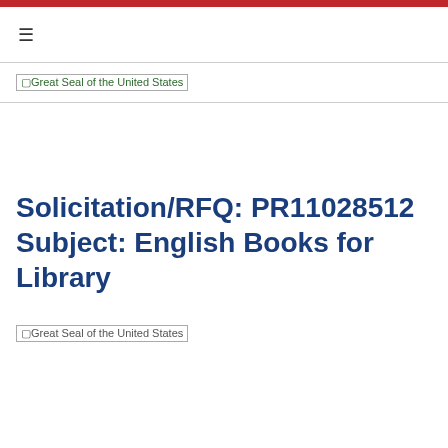≡
[Figure (logo): Great Seal of the United States placeholder image in header]
Solicitation/RFQ: PR11028512 Subject: English Books for Library
[Figure (logo): Great Seal of the United States placeholder image in body]